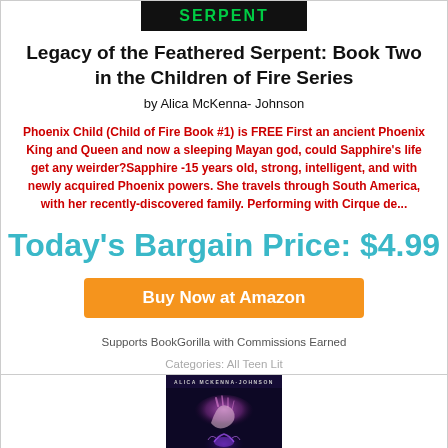[Figure (illustration): Book cover top strip showing 'SERPENT' in green text on black background]
Legacy of the Feathered Serpent: Book Two in the Children of Fire Series
by Alica McKenna- Johnson
Phoenix Child (Child of Fire Book #1) is FREE First an ancient Phoenix King and Queen and now a sleeping Mayan god, could Sapphire's life get any weirder?Sapphire -15 years old, strong, intelligent, and with newly acquired Phoenix powers. She travels through South America, with her recently-discovered family. Performing with Cirque de...
Today's Bargain Price: $4.99
Buy Now at Amazon
Supports BookGorilla with Commissions Earned
Categories: All Teen Lit
[Figure (illustration): Book cover for a novel by Alica McKenna-Johnson showing a hand with glowing purple/pink magical energy against a dark background, with a small creature below]